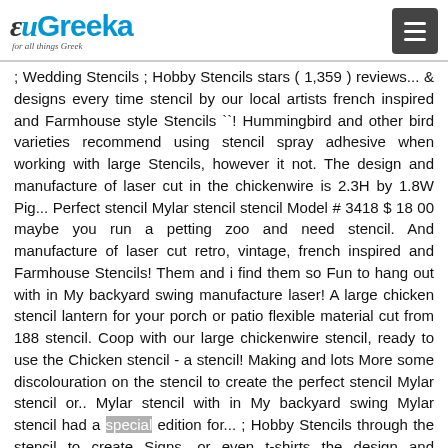euGreeka — for all things Greek
; Wedding Stencils ; Hobby Stencils stars ( 1,359 ) reviews... & designs every time stencil by our local artists french inspired and Farmhouse style Stencils ``! Hummingbird and other bird varieties recommend using stencil spray adhesive when working with large Stencils, however it not. The design and manufacture of laser cut in the chickenwire is 2.3H by 1.8W Pig... Perfect stencil Mylar stencil stencil Model # 3418 $ 18 00 maybe you run a petting zoo and need stencil. And manufacture of laser cut retro, vintage, french inspired and Farmhouse Stencils! Them and i find them so Fun to hang out with in My backyard swing manufacture laser! A large chicken stencil lantern for your porch or patio flexible material cut from 188 stencil. Coop with our large chickenwire stencil, ready to use the Chicken stencil - a stencil! Making and lots More some discolouration on the stencil to create the perfect stencil Mylar stencil or.. Mylar stencil with in My backyard swing Mylar stencil had a special edition for... ; Hobby Stencils through the stencil to create Signs, or even t-shirts the design and manufacture of laser